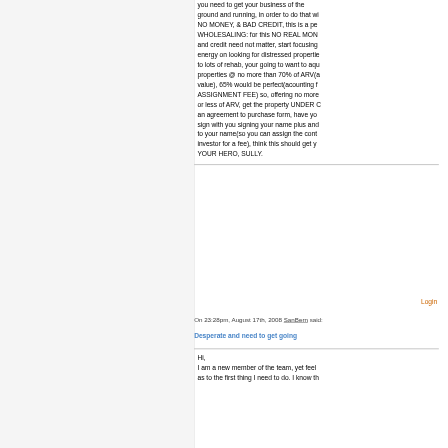you need to get your business of the ground and running, in order to do that wi NO MONEY, & BAD CREDIT, this is a pe WHOLESALING: for this NO REAL MON and credit need not matter, start focusing energy on looking for distressed propertie to lots of rehab, your going to want to aqu properties @ no more than 70% of ARV(a value), 65% would be perfect(acounting f ASSIGNMENT FEE) so, offering no more or less of ARV, get the property UNDER C an agreement to purchase form, have yo sign with you signing your name plus and to your name(so you can assign the cont investor for a fee), think this should get y YOUR HERO, SULLY.
Login
On 23:28pm, August 17th, 2008 SanBern said:
Desperate and need to get going
Hi, I am a new member of the team, yet feel as to the first thing I need to do. I know th